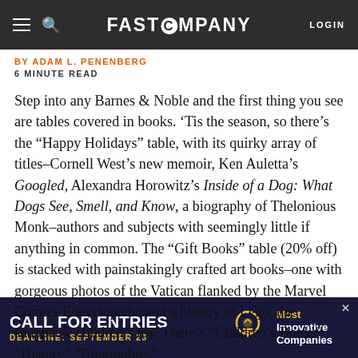FAST COMPANY
BY ADAM L. PENENBERG
6 MINUTE READ
Step into any Barnes & Noble and the first thing you see are tables covered in books. ‘Tis the season, so there’s the “Happy Holidays” table, with its quirky array of titles–Cornell West’s new memoir, Ken Auletta’s Googled, Alexandra Horowitz’s Inside of a Dog: What Dogs See, Smell, and Know, a biography of Thelonious Monk–authors and subjects with seemingly little if anything in common. The “Gift Books” table (20% off) is stacked with painstakingly crafted art books–one with gorgeous photos of the Vatican flanked by the Marvel Comics Encyclopedia and a history of Lego, the snappable children’s toy. There’s “Children’s Books” “History” “Biographies”...
[Figure (infographic): Advertisement banner: CALL FOR ENTRIES, DEADLINE: SEPTEMBER 23, Most Innovative Companies, with lightbulb icon]